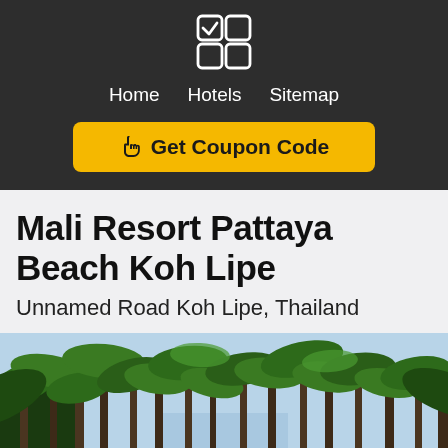[Figure (logo): 2x2 app icon grid with top-left cell checked]
Home   Hotels   Sitemap
☞ Get Coupon Code
Mali Resort Pattaya Beach Koh Lipe
Unnamed Road Koh Lipe, Thailand
[Figure (photo): Tropical resort pathway lined with tall palm trees, glimpse of beach/water in the background]